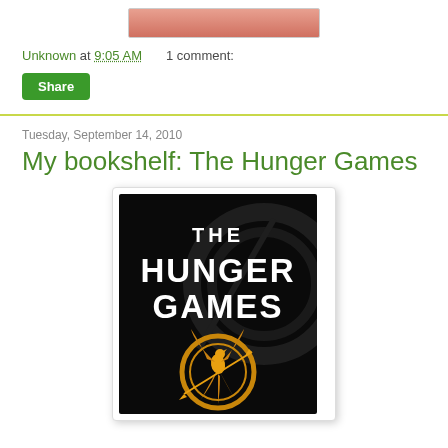[Figure (photo): Partial top of a book cover image, cropped at the top of the page]
Unknown at 9:05 AM    1 comment:
Share
Tuesday, September 14, 2010
My bookshelf: The Hunger Games
[Figure (photo): Book cover of The Hunger Games — black background with bold white text 'THE HUNGER GAMES' and a gold mockingjay bird emblem below]